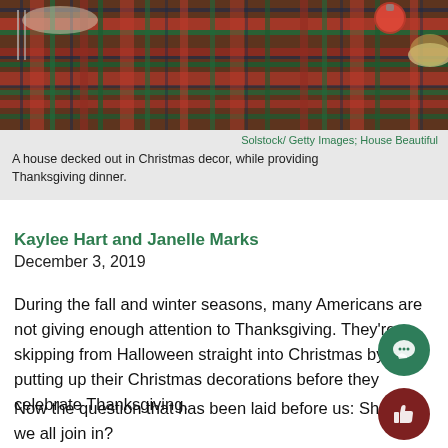[Figure (photo): A holiday table with a plaid tablecloth, Christmas ornaments, and food dishes — representing a house decked out in Christmas decor while providing Thanksgiving dinner.]
Solstock/ Getty Images; House Beautiful
A house decked out in Christmas decor, while providing Thanksgiving dinner.
Kaylee Hart and Janelle Marks
December 3, 2019
During the fall and winter seasons, many Americans are not giving enough attention to Thanksgiving. They're skipping from Halloween straight into Christmas by putting up their Christmas decorations before they celebrate Thanksgiving.
Now the question that has been laid before us: Should we all join in?